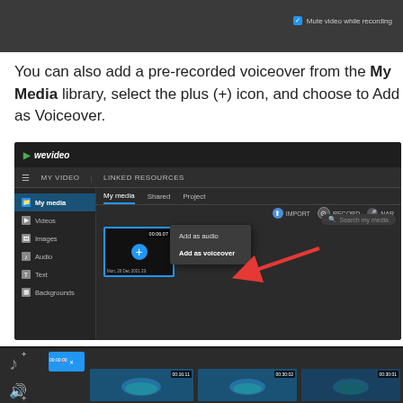[Figure (screenshot): Top strip of WeVideo recording interface showing 'Mute video while recording' checkbox option]
You can also add a pre-recorded voiceover from the My Media library, select the plus (+) icon, and choose to Add as Voiceover.
[Figure (screenshot): WeVideo My Media panel showing context menu with 'Add as audio' and 'Add as voiceover' options, with a red arrow pointing to 'Add as voiceover']
[Figure (screenshot): WeVideo timeline at bottom showing audio clip and video thumbnails of underwater sea turtle footage]